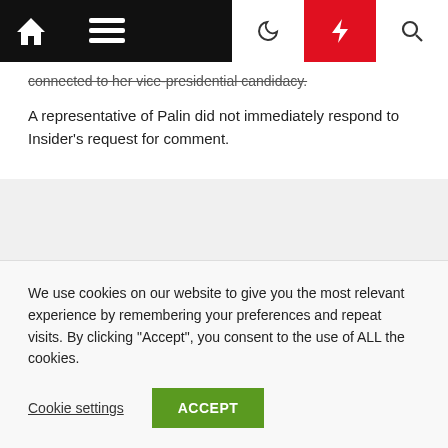Navigation bar with home, menu, dark mode, lightning, and search icons
connected to her vice-presidential candidacy.
A representative of Palin did not immediately respond to Insider's request for comment.
Next Post >
Health
We use cookies on our website to give you the most relevant experience by remembering your preferences and repeat visits. By clicking "Accept", you consent to the use of ALL the cookies.
Cookie settings
ACCEPT